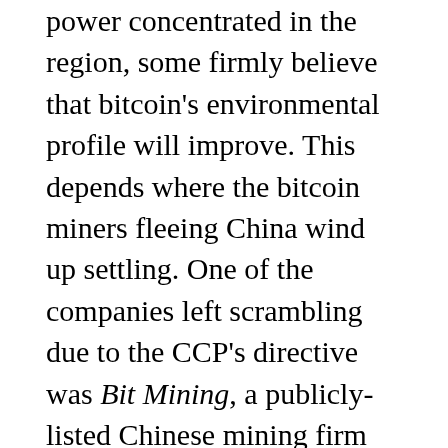power concentrated in the region, some firmly believe that bitcoin's environmental profile will improve. This depends where the bitcoin miners fleeing China wind up settling. One of the companies left scrambling due to the CCP's directive was Bit Mining, a publicly-listed Chinese mining firm that has quickly dispatched over two and a half thousand rigs to Kazakhstan. All of these are expected to be powered up in their new location by the start of July. Bit Mining has also started investing in mining facilities in Texas, where fossil fuels and wind power are quite abundant. Beijing-based mining giant Canaan has also set up a base of operations in Kazakhstan, crediting the region's famously low electricity rates; however, over 70% of Kazakhstan's electricity